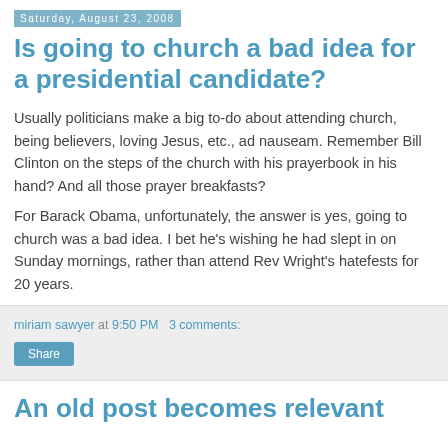Saturday, August 23, 2008
Is going to church a bad idea for a presidential candidate?
Usually politicians make a big to-do about attending church, being believers, loving Jesus, etc., ad nauseam. Remember Bill Clinton on the steps of the church with his prayerbook in his hand? And all those prayer breakfasts?
For Barack Obama, unfortunately, the answer is yes, going to church was a bad idea. I bet he's wishing he had slept in on Sunday mornings, rather than attend Rev Wright's hatefests for 20 years.
miriam sawyer at 9:50 PM   3 comments:
Share
An old post becomes relevant